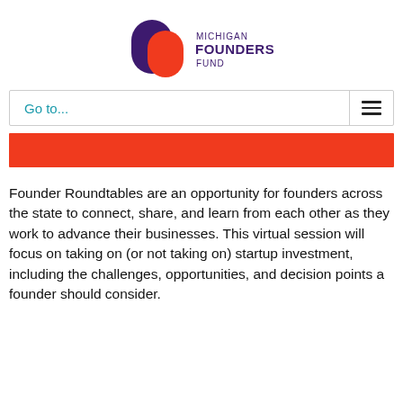[Figure (logo): Michigan Founders Fund logo with purple and red overlapping rounded rectangles and text 'MICHIGAN FOUNDERS FUND']
Go to...
[Figure (other): Red horizontal banner bar]
Founder Roundtables are an opportunity for founders across the state to connect, share, and learn from each other as they work to advance their businesses. This virtual session will focus on taking on (or not taking on) startup investment, including the challenges, opportunities, and decision points a founder should consider.